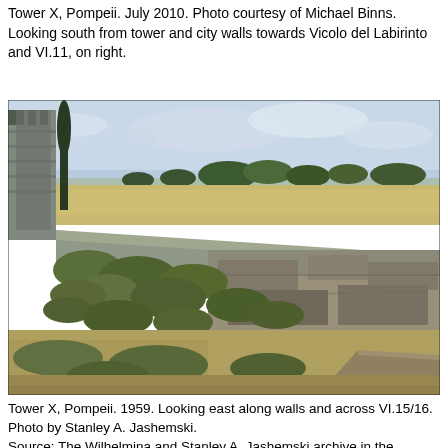Tower X, Pompeii. July 2010. Photo courtesy of Michael Binns. Looking south from tower and city walls towards Vicolo del Labirinto and VI.11, on right.
[Figure (photo): Photograph of Tower X, Pompeii, 1959. Looking east along walls and across VI.15/16. Ancient stone ruins with defensive walls, overgrown with shrubs and wild grass, with open fields and tree line visible in background under a partly cloudy sky.]
Tower X, Pompeii. 1959. Looking east along walls and across VI.15/16.
Photo by Stanley A. Jashemski.
Source: The Wilhelmina and Stanley A. Jashemski archive in the University of Maryland Library, Special Collections (See collection